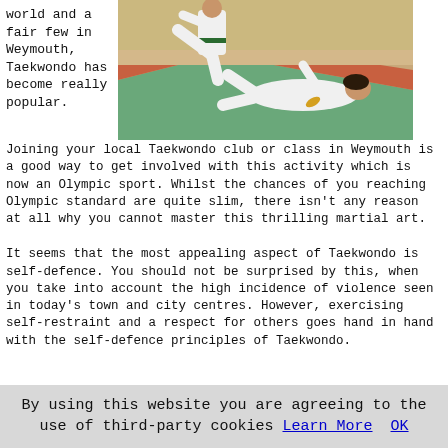world and a fair few in Weymouth, Taekwondo has become really popular.
[Figure (photo): Two people in white Taekwondo uniforms sparring on colored mats; one fighter is executing a high kick while the other is on the ground.]
Joining your local Taekwondo club or class in Weymouth is a good way to get involved with this activity which is now an Olympic sport. Whilst the chances of you reaching Olympic standard are quite slim, there isn't any reason at all why you cannot master this thrilling martial art.
It seems that the most appealing aspect of Taekwondo is self-defence. You should not be surprised by this, when you take into account the high incidence of violence seen in today's town and city centres. However, exercising self-restraint and a respect for others goes hand in hand with the self-defence principles of Taekwondo.
By using this website you are agreeing to the use of third-party cookies Learn More  OK